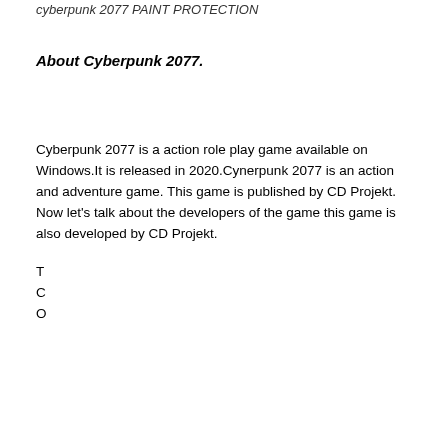cyberpunk 2077 PAINT PROTECTION
About Cyberpunk 2077.
Cyberpunk 2077 is a action role play game available on Windows.It is released in 2020.Cynerpunk 2077 is an action and adventure game. This game is published by CD Projekt. Now let's talk about the developers of the game this game is also developed by CD Projekt.
[Figure (photo): Advertisement banner for Detail Authority Paint Protection, featuring a logo on the left and a photo of someone applying paint protection film to a car headlight on the right, with the headline 'Vehicle Paint Protection Now' and a red arrow button.]
T... C... O...